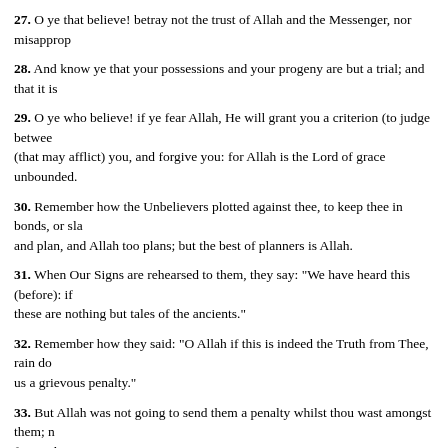27. O ye that believe! betray not the trust of Allah and the Messenger, nor misapprop...
28. And know ye that your possessions and your progeny are but a trial; and that it is...
29. O ye who believe! if ye fear Allah, He will grant you a criterion (to judge between... (that may afflict) you, and forgive you: for Allah is the Lord of grace unbounded.
30. Remember how the Unbelievers plotted against thee, to keep thee in bonds, or sla... and plan, and Allah too plans; but the best of planners is Allah.
31. When Our Signs are rehearsed to them, they say: "We have heard this (before): if... these are nothing but tales of the ancients."
32. Remember how they said: "O Allah if this is indeed the Truth from Thee, rain do... us a grievous penalty."
33. But Allah was not going to send them a penalty whilst thou wast amongst them; n... for pardon.
34. But what plea have they that Allah should not punish them, when they keep out (... its guardians? No men can be its guardians except the righteous; but most of them do...
35. Their prayer at the House (of Allah. is nothing but whistling and clapping of han... because ye blasphemed."
36. The Unbelievers spend their wealth to hinder (men) from the path of Allah, and...